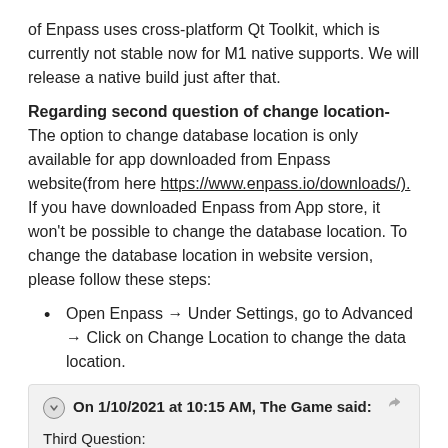of Enpass uses cross-platform Qt Toolkit, which is currently not stable now for M1 native supports. We will release a native build just after that.
Regarding second question of change location- The option to change database location is only available for app downloaded from Enpass website(from here https://www.enpass.io/downloads/). If you have downloaded Enpass from App store, it won't be possible to change the database location. To change the database location in website version, please follow these steps:
Open Enpass → Under Settings, go to Advanced → Click on Change Location to change the data location.
On 1/10/2021 at 10:15 AM, The Game said:
Third Question:
The vault icons seems to be not the same as on my iOS Device, even if I select standard icons instead of custom ones. The sync of the selected vault Icon seems to be broken. Can you investigate and check, why this is